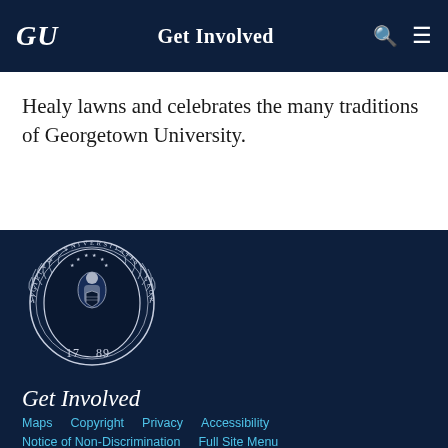GU | Get Involved
Healy lawns and celebrates the many traditions of Georgetown University.
[Figure (logo): Georgetown University seal/crest with year 1789, white on dark navy background]
Get Involved
Maps | Copyright | Privacy | Accessibility | Notice of Non-Discrimination | Full Site Menu